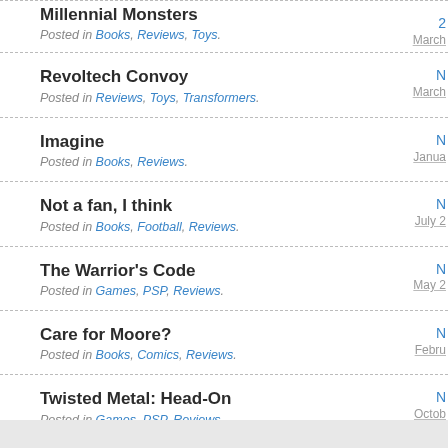Millennial Monsters
Posted in Books, Reviews, Toys.
2 March
Revoltech Convoy
Posted in Reviews, Toys, Transformers.
N March
Imagine
Posted in Books, Reviews.
N January
Not a fan, I think
Posted in Books, Football, Reviews.
N July 2
The Warrior's Code
Posted in Games, PSP, Reviews.
N May 2
Care for Moore?
Posted in Books, Comics, Reviews.
N February
Twisted Metal: Head-On
Posted in Games, PSP, Reviews.
N October